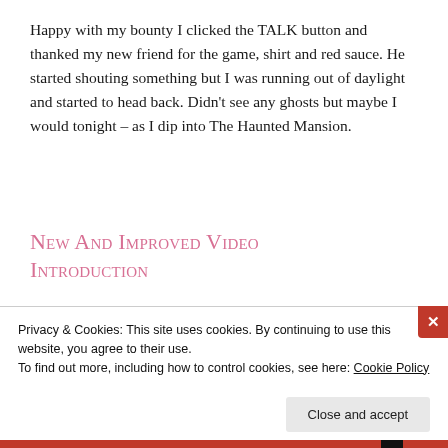Happy with my bounty I clicked the TALK button and thanked my new friend for the game, shirt and red sauce. He started shouting something but I was running out of daylight and started to head back. Didn't see any ghosts but maybe I would tonight – as I dip into The Haunted Mansion.
New And Improved Video Introduction
Privacy & Cookies: This site uses cookies. By continuing to use this website, you agree to their use.
To find out more, including how to control cookies, see here: Cookie Policy